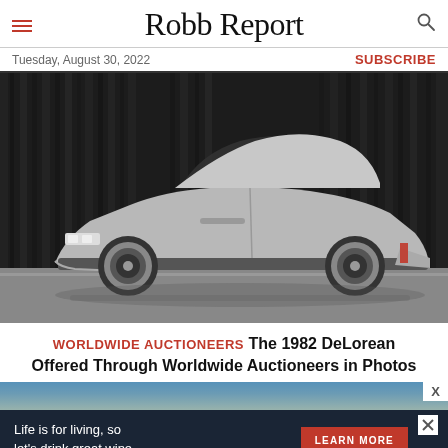Robb Report
Tuesday, August 30, 2022
SUBSCRIBE
[Figure (photo): Side profile photo of a silver 1982 DeLorean DMC-12 with gull-wing doors, photographed on a grey floor against dark curtain backdrop.]
WORLDWIDE AUCTIONEERS The 1982 DeLorean Offered Through Worldwide Auctioneers in Photos
[Figure (screenshot): Advertisement banner showing partial building photo with text overlay. Bottom portion shows: 'Life is for living, so let's drink great wine.' with a red LEARN MORE button.]